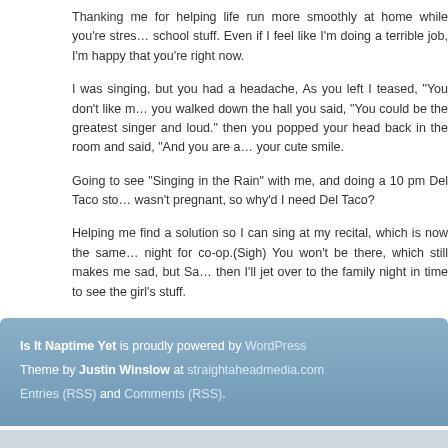Thanking me for helping life run more smoothly at home while you're stressed about school stuff. Even if I feel like I'm doing a terrible job, I'm happy that you're happy right now.
I was singing, but you had a headache, As you left I teased, "You don't like my singing." as you walked down the hall you said, "You could be the greatest singer and I'd love it out loud." then you popped your head back in the room and said, "And you are a..." with your cute smile.
Going to see “Singing in the Rain” with me, and doing a 10 pm Del Taco stop even though I wasn't pregnant, so why'd I need Del Taco?
Helping me find a solution so I can sing at my recital, which is now the same night for co-op.(Sigh) You won't be there, which still makes me sad, but Sara said she'd sing and then I'll jet over to the family night in time to see the girl's stuff.
Posted in Family, Highlights | 2 Comments »
Is It Naptime Yet is proudly powered by WordPress Theme by Justin Winslow at straightaheadmedia.com Entries (RSS) and Comments (RSS).